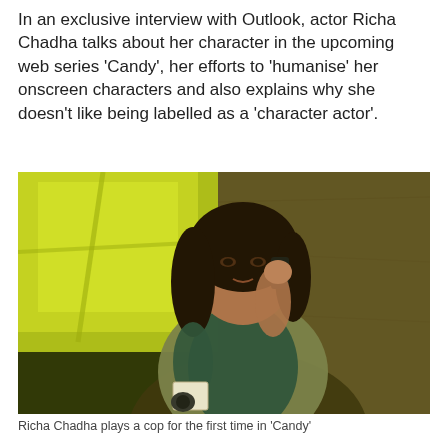In an exclusive interview with Outlook, actor Richa Chadha talks about her character in the upcoming web series 'Candy', her efforts to 'humanise' her onscreen characters and also explains why she doesn't like being labelled as a 'character actor'.
[Figure (photo): A woman (Richa Chadha) wearing a teal turtleneck sweater and olive/grey puffer vest, holding a phone to her ear and clutching a notebook/camera, standing against a weathered wall with yellow-green light streaming through a window in the background.]
Richa Chadha plays a cop for the first time in 'Candy'